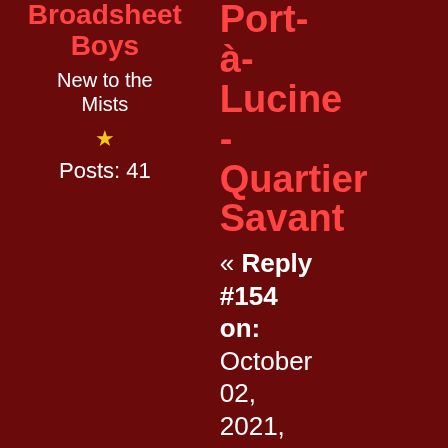Broadsheet Boys
New to the Mists
Posts: 41
Port-à-Lucine - Quartier Savant
« Reply #154 on: October 02, 2021, 07:03:55 PM »